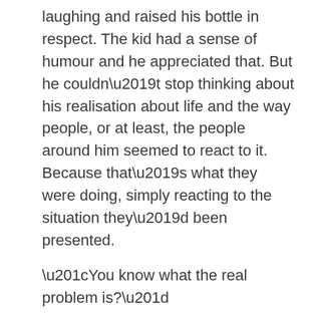laughing and raised his bottle in respect. The kid had a sense of humour and he appreciated that. But he couldn't stop thinking about his realisation about life and the way people, or at least, the people around him seemed to react to it. Because that's what they were doing, simply reacting to the situation they'd been presented.

“You know what the real problem is?”

“Tell me.”

“The problem is none of these people live on purpose.”

The barman stopped what he was